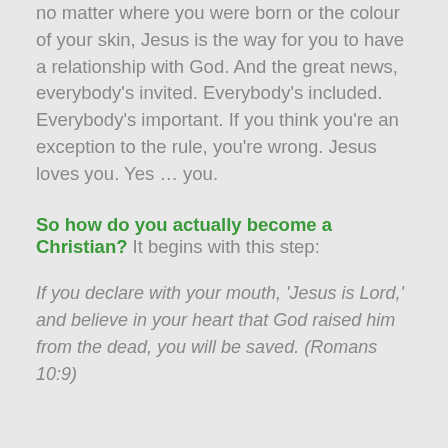no matter where you were born or the colour of your skin, Jesus is the way for you to have a relationship with God. And the great news, everybody's invited. Everybody's included. Everybody's important. If you think you're an exception to the rule, you're wrong. Jesus loves you. Yes … you.
So how do you actually become a Christian? It begins with this step:
If you declare with your mouth, 'Jesus is Lord,' and believe in your heart that God raised him from the dead, you will be saved. (Romans 10:9)